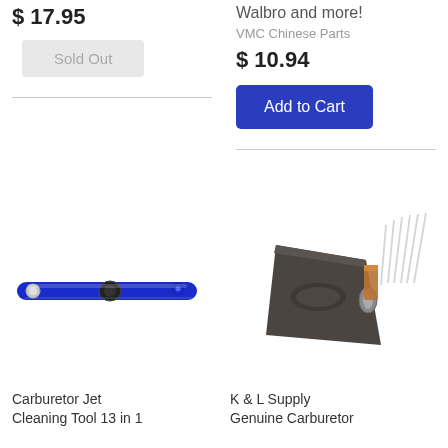$ 17.95
Sold Out
Walbro and more!
VMC Chinese Parts
$ 10.94
Add to Cart
[Figure (photo): Blue multi-tool carburetor jet cleaning tool, folded flat showing blue metal casing with rivets]
[Figure (photo): K & L Supply genuine carburetor tool, dark grey clip-like device with copper/metal needles extending from top]
Carburetor Jet Cleaning Tool 13 in 1
K & L Supply Genuine Carburetor